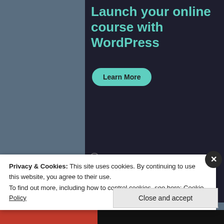[Figure (screenshot): WordPress.com advertisement banner with dark background (#1e1e2e), teal heading 'Launch your online course with WordPress', a teal 'Learn More' button, and WordPress.com logo at bottom.]
REPORT THIS AD
Ushnish (Pantho)
2019年6月17日 at 6:04 AM
Privacy & Cookies: This site uses cookies. By continuing to use this website, you agree to their use.
To find out more, including how to control cookies, see here: Cookie Policy
Close and accept